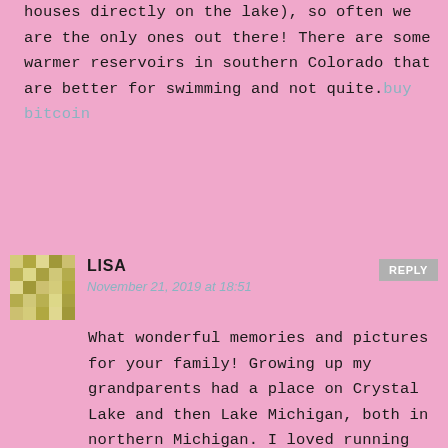houses directly on the lake), so often we are the only ones out there! There are some warmer reservoirs in southern Colorado that are better for swimming and not quite.buy bitcoin
[Figure (illustration): Checkered/mosaic avatar image for user Lisa]
LISA
November 21, 2019 at 18:51
REPLY
What wonderful memories and pictures for your family! Growing up my grandparents had a place on Crystal Lake and then Lake Michigan, both in northern Michigan. I loved running the dunes along Lake Michigan! We have a cabin in Twin Lakes, Colorado and the cold, clear water reminds me of northern Michigan, although it is actually colder (48 degrees on Memorial Day) so we do more wading than swimming. We like to drive the boat to deserted beaches and enjoy picnics and